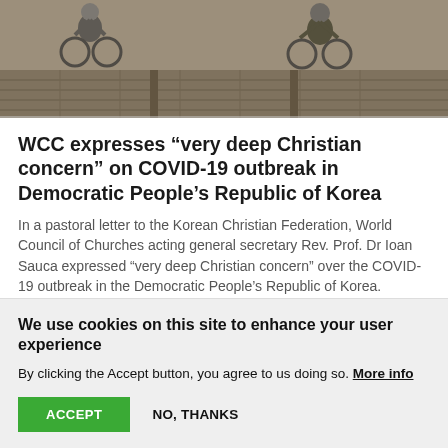[Figure (photo): Outdoor scene with people on bicycles or working on stone/rail tracks, seen from above, in warm light.]
WCC expresses “very deep Christian concern” on COVID-19 outbreak in Democratic People’s Republic of Korea
In a pastoral letter to the Korean Christian Federation, World Council of Churches acting general secretary Rev. Prof. Dr Ioan Sauca expressed “very deep Christian concern” over the COVID-19 outbreak in the Democratic People’s Republic of Korea.
01 June 2022
We use cookies on this site to enhance your user experience
By clicking the Accept button, you agree to us doing so. More info
ACCEPT
NO, THANKS